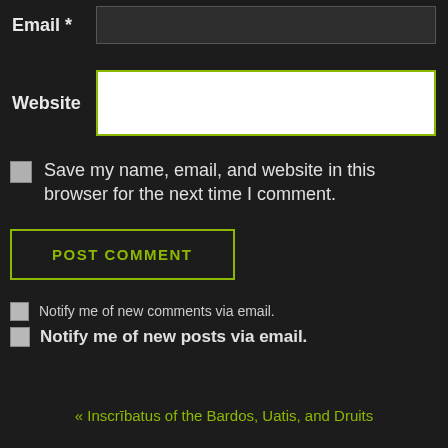Email *  [input field]
Website  [input field]
☐ Save my name, email, and website in this browser for the next time I comment.
POST COMMENT
☐ Notify me of new comments via email.
☐ Notify me of new posts via email.
« Inscrībatus of the Bardos, Uatis, and Druits